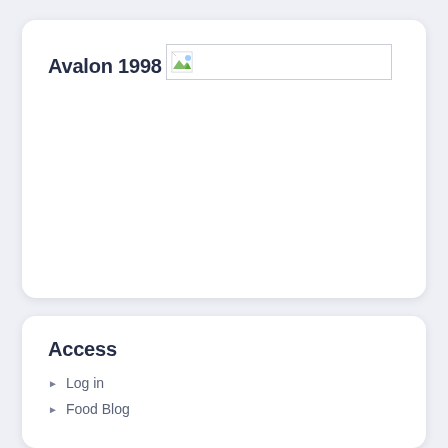Avalon 1998
[Figure (photo): Broken image placeholder with small landscape icon thumbnail]
Access
Log in
Food Blog